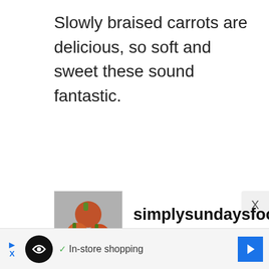Slowly braised carrots are delicious, so soft and sweet these sound fantastic.
[Figure (photo): Avatar image showing tomatoes on a plate]
simplysundaysfood blog
May 17, 2019   Reply
Thank you Brian!
In-store shopping